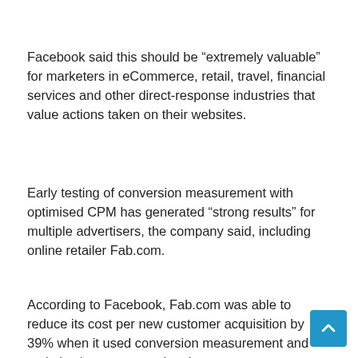Facebook said this should be “extremely valuable” for marketers in eCommerce, retail, travel, financial services and other direct-response industries that value actions taken on their websites.
Early testing of conversion measurement with optimised CPM has generated “strong results” for multiple advertisers, the company said, including online retailer Fab.com.
According to Facebook, Fab.com was able to reduce its cost per new customer acquisition by 39% when it used conversion measurement and optimisation to serve advertisements to consumers deemed most likely to conv…